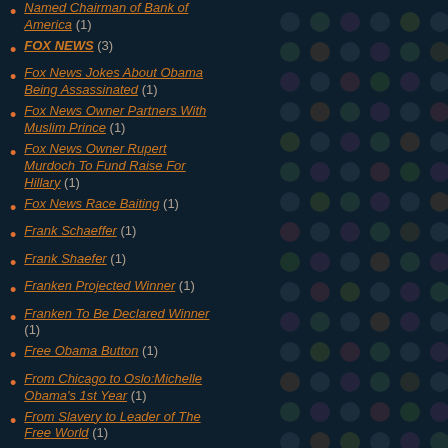Named Chairman of Bank of America (1)
FOX NEWS (3)
Fox News Jokes About Obama Being Assassinated (1)
Fox News Owner Partners With Muslim Prince (1)
Fox News Owner Rupert Murdoch To Fund Raise For Hillary (1)
Fox News Race Baiting (1)
Frank Schaeffer (1)
Frank Shaefer (1)
Franken Projected Winner (1)
Franken To Be Declared Winner (1)
Free Obama Button (1)
From Chicago to Oslo:Michelle Obama's 1st Year (1)
From Slavery to Leader of The Free World (1)
Full Text: President's 2nd Inaugural Speech (1)